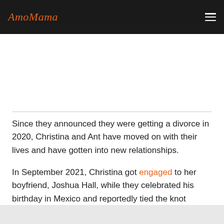AmoMama
Since they announced they were getting a divorce in 2020, Christina and Ant have moved on with their lives and have gotten into new relationships.
In September 2021, Christina got engaged to her boyfriend, Joshua Hall, while they celebrated his birthday in Mexico and reportedly tied the knot secretly in April 2022.